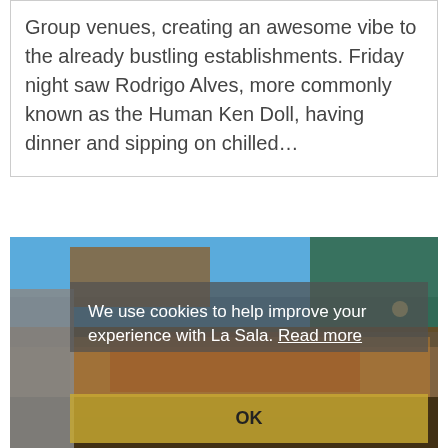Group venues, creating an awesome vibe to the already bustling establishments. Friday night saw Rodrigo Alves, more commonly known as the Human Ken Doll, having dinner and sipping on chilled...
[Figure (photo): Outdoor restaurant/bar terrace at dusk with trees and blue sky, overlaid with a cookie consent dialog reading 'We use cookies to help improve your experience with La Sala. Read more' and an OK button bar.]